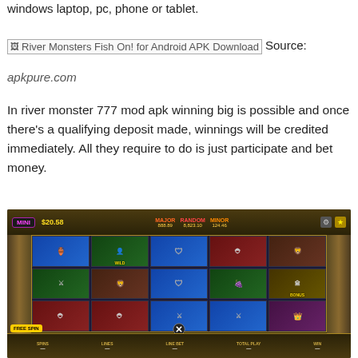windows laptop, pc, phone or tablet.
[Figure (screenshot): Broken image placeholder for 'River Monsters Fish On! for Android APK Download' with source label]
Source: apkpure.com
In river monster 777 mod apk winning big is possible and once there's a qualifying deposit made, winnings will be credited immediately. All they require to do is just participate and bet money.
[Figure (screenshot): Screenshot of a slot machine game showing Roman/gladiator theme with symbols including vase, bust, shield, helmet, lion, swords, grapes, Colosseum. Shows MINI jackpot $20.58, MAJOR, RANDOM, MINOR jackpots at top. FREE SPIN label at bottom left. WILD and BONUS labels on reel symbols.]